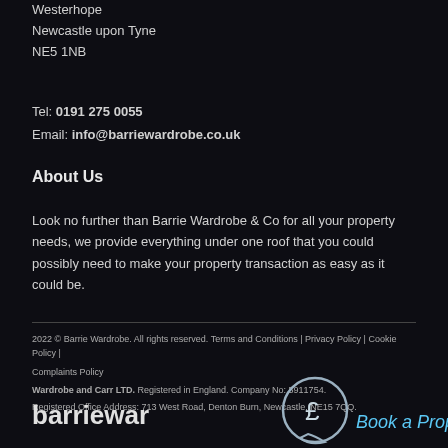Westerhope
Newcastle upon Tyne
NE5 1NB
Tel: 0191 275 0055
Email: info@barriewardrobe.co.uk
About Us
Look no further than Barrie Wardrobe & Co for all your property needs, we provide everything under one roof that you could possibly need to make your property transaction as easy as it could be.
2022 © Barrie Wardrobe. All rights reserved. Terms and Conditions | Privacy Policy | Cookie Policy | Complaints Policy
Wardrobe and Carr LTD. Registered in England. Company No: 5911754.
Registered Office Address: 713 West Road, Denton Burn, Newcastle, NE15 7QQ.
[Figure (logo): Barrie Wardrobe logo and Book a Property Valuation button with pound sign icon]